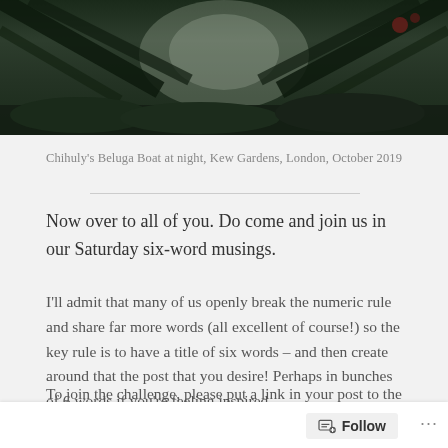[Figure (photo): Dark nighttime photograph of Chihuly's Beluga Boat installation at Kew Gardens, showing pale illuminated glass forms among dark palm fronds and tropical foliage]
Chihuly's Beluga Boat at night, Kew Gardens, London, October 2019
Now over to all of you. Do come and join us in our Saturday six-word musings.
I'll admit that many of us openly break the numeric rule and share far more words (all excellent of course!) so the key rule is to have a title of six words – and then create around that the post that you desire! Perhaps in bunches of 6 words if you're feeling inspired.
To join the challenge, please put a link in your post to the URL of this post. Then come back here and leave us a comment. If you have any problems with linking, just put your own URL into the